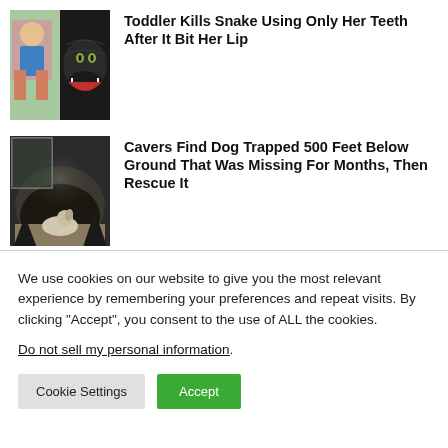[Figure (photo): Thumbnail image of a toddler and a snake]
Toddler Kills Snake Using Only Her Teeth After It Bit Her Lip
[Figure (photo): Thumbnail image of a dog trapped underground and cavers]
Cavers Find Dog Trapped 500 Feet Below Ground That Was Missing For Months, Then Rescue It
We use cookies on our website to give you the most relevant experience by remembering your preferences and repeat visits. By clicking “Accept”, you consent to the use of ALL the cookies.
Do not sell my personal information.